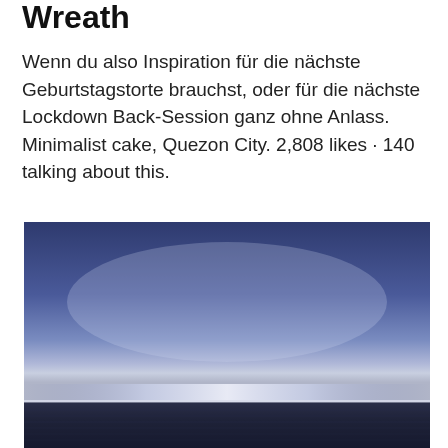Wreath
Wenn du also Inspiration für die nächste Geburtstagstorte brauchst, oder für die nächste Lockdown Back-Session ganz ohne Anlass. Minimalist cake, Quezon City. 2,808 likes · 140 talking about this.
[Figure (photo): Minimalist landscape photo showing a calm ocean or sea at dusk/dawn, with a blue-grey gradient sky above and dark blue-grey water below, separated by a thin bright horizon line.]